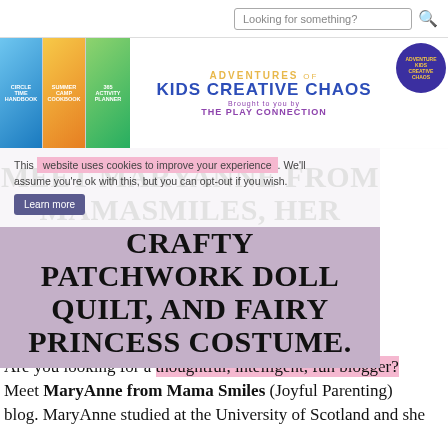Looking for something?
[Figure (logo): Adventures of Kids Creative Chaos banner logo with book covers on the left (Circle Time Handbook, Summer Camp Cookbook, 365 Activity Planner), large text in the center 'ADVENTURES of KIDS CREATIVE CHAOS Brought to you by THE PLAY CONNECTION', and a circular badge on the right]
This website uses cookies... Learn more
MEET MARYANNE FROM MAMASMILES, HER CRAFTY PATCHWORK DOLL QUILT, AND FAIRY PRINCESS COSTUME.
Are you looking for a thoughtful, intelligent, fun blogger? Meet MaryAnne from Mama Smiles (Joyful Parenting) blog. MaryAnne studied at the University of Scotland and she